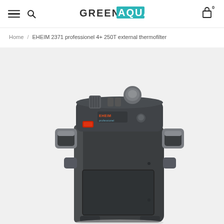GREEN AQUA — navigation bar with hamburger menu, search icon, logo, and cart (0)
Home / EHEIM 2371 professionel 4+ 250T external thermofilter
[Figure (photo): EHEIM 2371 professionel 4+ 250T external thermofilter product photo. A dark charcoal-grey canister filter unit shown at an angle from above. The top panel has a round grey priming button, a ribbed dial/knob, a red push-button, and the EHEIM brand logo in orange/red. Two grey side clip handles are visible on the left and right. The main body is a rectangular dark grey canister with a transparent lower section.]